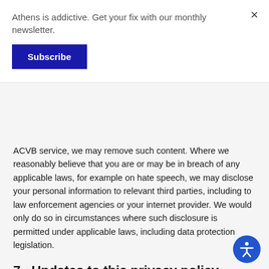Athens is addictive. Get your fix with our monthly newsletter.
Subscribe
ACVB service, we may remove such content. Where we reasonably believe that you are or may be in breach of any applicable laws, for example on hate speech, we may disclose your personal information to relevant third parties, including to law enforcement agencies or your internet provider. We would only do so in circumstances where such disclosure is permitted under applicable laws, including data protection legislation.
7.  Updates to this privacy policy
We may change this privacy policy. The “Last Updated” section at the top of this page states when this privacy policy was last revised. Any changes to this privacy policy will become effective when we post the revised privacy policy on the Fáilte Ireland corporate website & Trade Portal. Your use of the Ireland services following these changes means that you accept the revised privacy policy and you may materially be bound